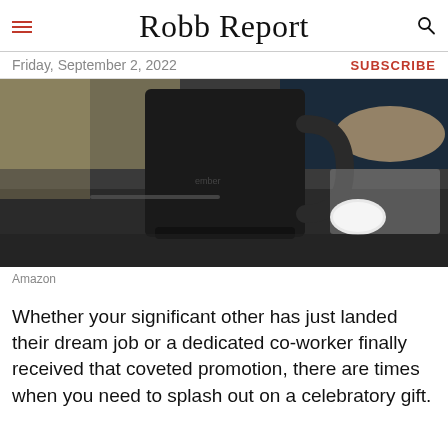Robb Report
Friday, September 2, 2022
SUBSCRIBE
[Figure (photo): Close-up photo of a black Ember mug on a desk surface, with AirPods case and a laptop partially visible, and a person's hand in the background]
Amazon
Whether your significant other has just landed their dream job or a dedicated co-worker finally received that coveted promotion, there are times when you need to splash out on a celebratory gift.